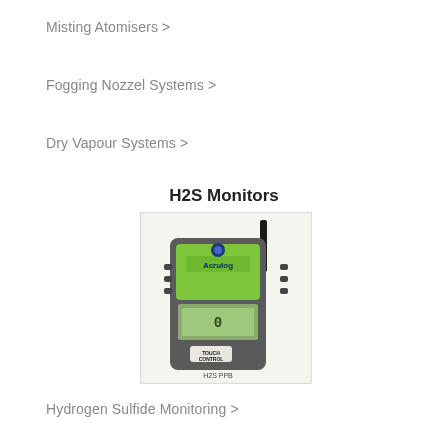Misting Atomisers >
Fogging Nozzel Systems >
Dry Vapour Systems >
H2S Monitors
[Figure (photo): An Acrulog H2S PPB monitor device with green front panel, LCD display, TOUCH CONTROL button, and an antenna, housed in a protective enclosure.]
Hydrogen Sulfide Monitoring >